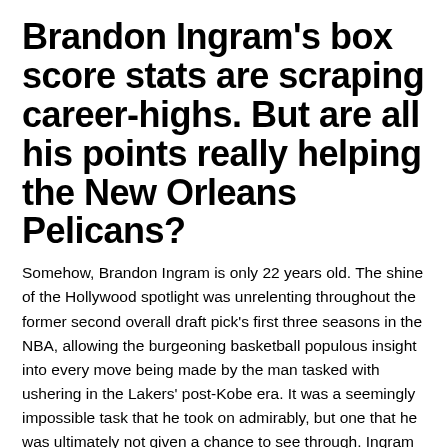Brandon Ingram's box score stats are scraping career-highs. But are all his points really helping the New Orleans Pelicans?
Somehow, Brandon Ingram is only 22 years old. The shine of the Hollywood spotlight was unrelenting throughout the former second overall draft pick's first three seasons in the NBA, allowing the burgeoning basketball populous insight into every move being made by the man tasked with ushering in the Lakers' post-Kobe era. It was a seemingly impossible task that he took on admirably, but one that he was ultimately not given a chance to see through. Ingram accompanied Lonzo Ball, Josh Hart and a party bus of draft capital to New Orleans in the Anthony Davis trade to play out the final year of his rookie contract